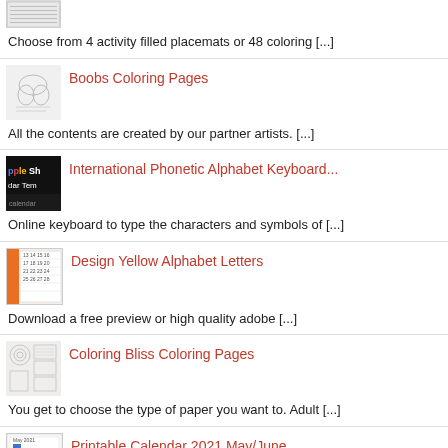[Figure (photo): Small thumbnail of activity placemats/coloring pages]
Choose from 4 activity filled placemats or 48 coloring [...]
[Figure (illustration): Sketch illustration thumbnail for Boobs Coloring Pages]
Boobs Coloring Pages
All the contents are created by our partner artists. [...]
[Figure (screenshot): Dark thumbnail showing Google Sheets Calendar Template text]
International Phonetic Alphabet Keyboard...
Online keyboard to type the characters and symbols of [...]
[Figure (photo): Calendar thumbnail with numbers and orange accent]
Design Yellow Alphabet Letters
Download a free preview or high quality adobe [...]
[Figure (illustration): Coloring pages thumbnail with mandala-style patterns]
Coloring Bliss Coloring Pages
You get to choose the type of paper you want to. Adult [...]
[Figure (photo): Printable calendar thumbnail with blue and red squares]
Printable Calendar 2021 May/June
Ready for your next audio binge? Download this 2021 [...]
Free Printable February 2022 Calendar Wi...